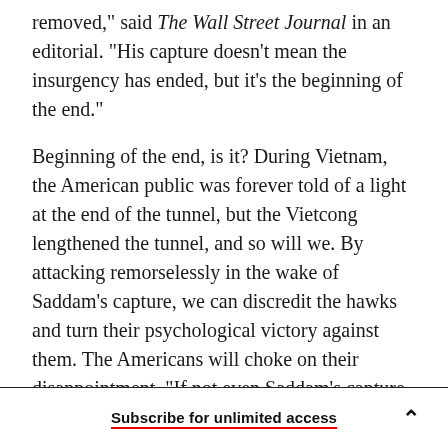removed," said The Wall Street Journal in an editorial. "His capture doesn't mean the insurgency has ended, but it's the beginning of the end."
Beginning of the end, is it? During Vietnam, the American public was forever told of a light at the end of the tunnel, but the Vietcong lengthened the tunnel, and so will we. By attacking remorselessly in the wake of Saddam's capture, we can discredit the hawks and turn their psychological victory against them. The Americans will choke on their disappointment. "If not even Saddam's capture could turn the tide," they will wail, "what hope is
Subscribe for unlimited access